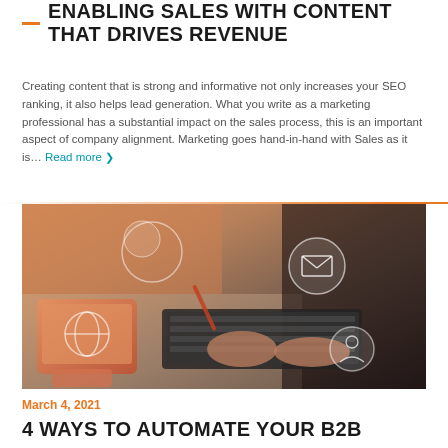ENABLING SALES WITH CONTENT THAT DRIVES REVENUE
Creating content that is strong and informative not only increases your SEO ranking, it also helps lead generation. What you write as a marketing professional has a substantial impact on the sales process, this is an important aspect of company alignment. Marketing goes hand-in-hand with Sales as it is… Read more ›
[Figure (photo): Person typing on a laptop with digital communication icons (email, globe, social) floating around, tablet and phone visible on desk]
March 4, 2021
4 WAYS TO AUTOMATE YOUR B2B